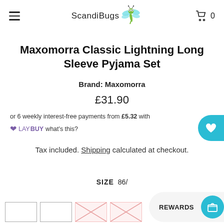ScandiBugs
Maxomorra Classic Lightning Long Sleeve Pyjama Set
Brand: Maxomorra
£31.90
or 6 weekly interest-free payments from £5.32 with LAYBUY what's this?
Tax included. Shipping calculated at checkout.
SIZE 86/